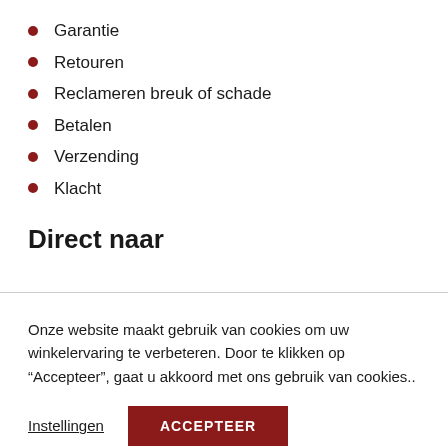Garantie
Retouren
Reclameren breuk of schade
Betalen
Verzending
Klacht
Direct naar
Onze website maakt gebruik van cookies om uw winkelervaring te verbeteren. Door te klikken op “Accepteer”, gaat u akkoord met ons gebruik van cookies..
Instellingen  ACCEPTEER